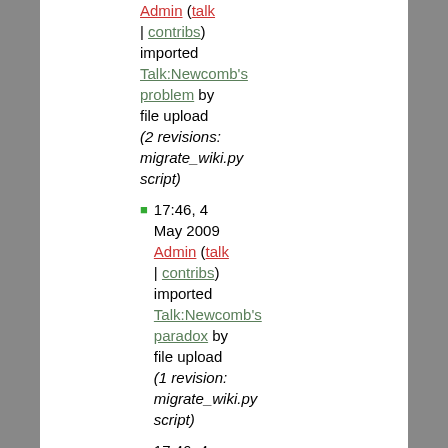Admin (talk | contribs) imported Talk:Newcomb's problem by file upload (2 revisions: migrate_wiki.py script)
17:46, 4 May 2009 Admin (talk | contribs) imported Talk:Newcomb's paradox by file upload (1 revision: migrate_wiki.py script)
17:46, 4 May 2009 Admin (talk | contribs)